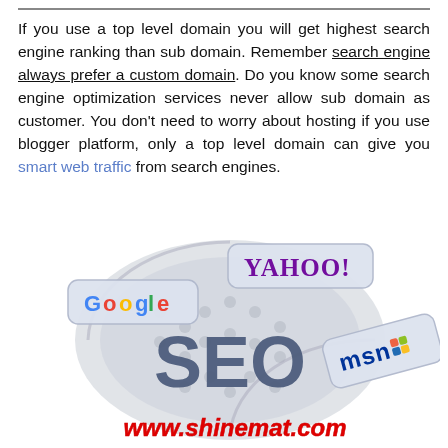If you use a top level domain you will get highest search engine ranking than sub domain. Remember search engine always prefer a custom domain. Do you know some search engine optimization services never allow sub domain as customer. You don't need to worry about hosting if you use blogger platform, only a top level domain can give you smart web traffic from search engines.
[Figure (illustration): SEO graphic showing a shield/globe shape with Google, Yahoo!, and MSN logos arranged around large 'SEO' text in the center, with a watermark 'www.shinemat.com' in red at the bottom]